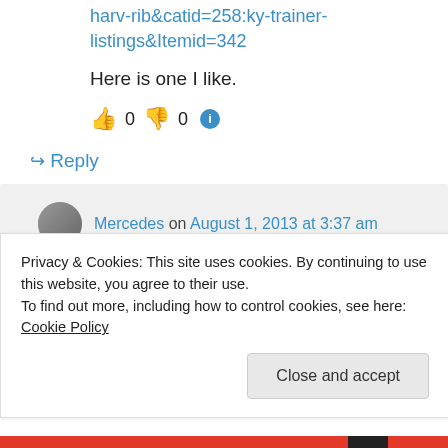harv-rib&catid=258:ky-trainer-listings&Itemid=342
Here is one I like.
👍 0 👎 0 ℹ
↪ Reply
Mercedes on August 1, 2013 at 3:37 am
Not bad. Rather straight through the hind
Privacy & Cookies: This site uses cookies. By continuing to use this website, you agree to their use.
To find out more, including how to control cookies, see here: Cookie Policy
Close and accept